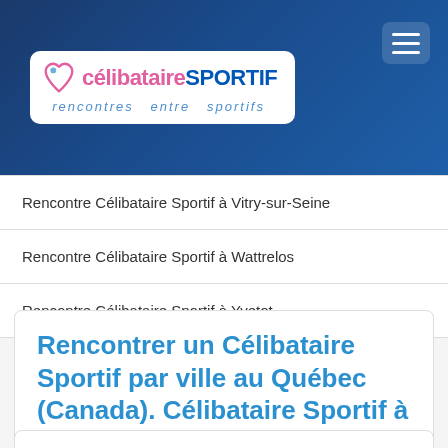célibataire SPORTIF — rencontres entre sportifs
Rencontre Célibataire Sportif à Vitry-sur-Seine
Rencontre Célibataire Sportif à Wattrelos
Rencontre Célibataire Sportif à Yvetot
Rencontrer un Célibataire Sportif par ville au Québec (Canada). Célibataire Sportif à Valence